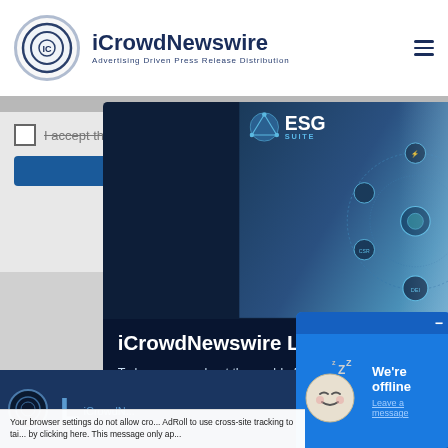[Figure (logo): iCrowdNewswire logo with circular IC emblem]
iCrowdNewswire
Advertising Driven Press Release Distribution
I accept the Terms of Use
[Figure (screenshot): ESG Suite popup modal with headline 'iCrowdNewswire Launches ESG Suite' and subtext 'To learn more about the world of global ESG communications:']
iCrowdNewswire Launches ESG Suite
To learn more about the world of global ESG communications:
[Figure (screenshot): We're offline chat widget with sleeping emoji and 'Leave a message' link]
We're offline
Leave a message
Your browser settings do not allow cross-site tracking. You have opted out of allowing AdRoll to use cross-site tracking to tailor advertising to you. Learn about your choices by clicking here. This message only ap